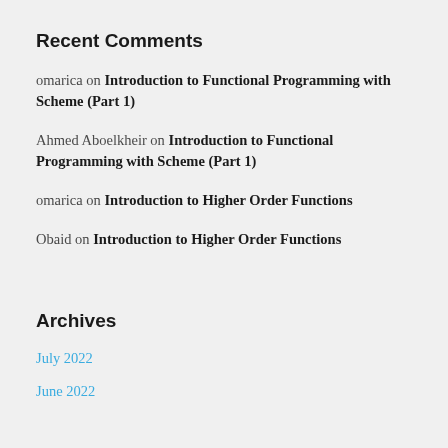Recent Comments
omarica on Introduction to Functional Programming with Scheme (Part 1)
Ahmed Aboelkheir on Introduction to Functional Programming with Scheme (Part 1)
omarica on Introduction to Higher Order Functions
Obaid on Introduction to Higher Order Functions
Archives
July 2022
June 2022